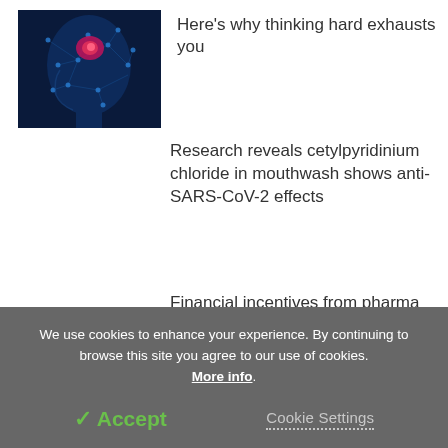[Figure (photo): Digital illustration of a human head profile in blue tones with glowing brain highlighted in red/pink, representing neural activity]
Here's why thinking hard exhausts you
Research reveals cetylpyridinium chloride in mouthwash shows anti-SARS-CoV-2 effects
Financial incentives from pharma companies can influence how vision
We use cookies to enhance your experience. By continuing to browse this site you agree to our use of cookies. More info.
✓ Accept
Cookie Settings